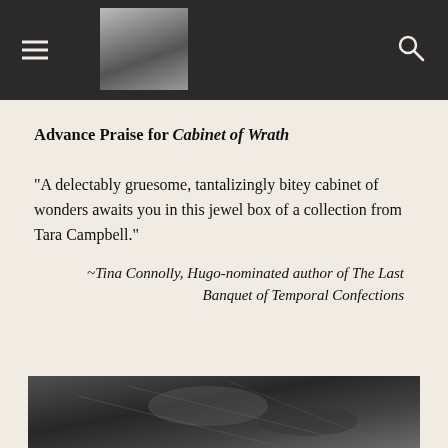[navigation bar with menu icon, author photo, and search icon]
Advance Praise for Cabinet of Wrath
"A delectably gruesome, tantalizingly bitey cabinet of wonders awaits you in this jewel box of a collection from Tara Campbell."
~Tina Connolly, Hugo-nominated author of The Last Banquet of Temporal Confections
[Figure (photo): Black and white photo partially visible at the bottom of the page]